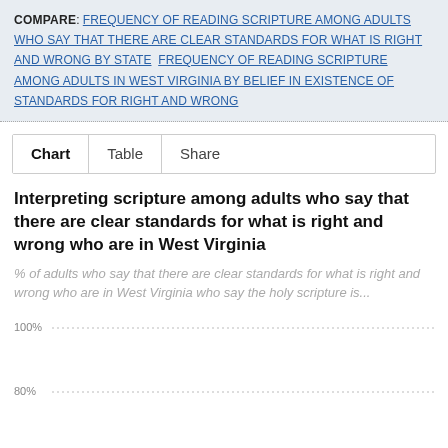COMPARE: FREQUENCY OF READING SCRIPTURE AMONG ADULTS WHO SAY THAT THERE ARE CLEAR STANDARDS FOR WHAT IS RIGHT AND WRONG BY STATE   FREQUENCY OF READING SCRIPTURE AMONG ADULTS IN WEST VIRGINIA BY BELIEF IN EXISTENCE OF STANDARDS FOR RIGHT AND WRONG
Chart   Table   Share
Interpreting scripture among adults who say that there are clear standards for what is right and wrong who are in West Virginia
% of adults who say that there are clear standards for what is right and wrong who are in West Virginia who say the holy scripture is...
[Figure (bar-chart): Partial bar chart visible with 100% and 80% gridlines shown]